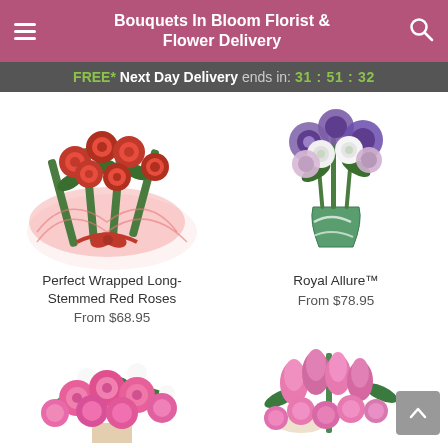Bouquets In Bloom Florist & Flower Delivery
FREE* Next Day Delivery ends in: 31:51:32
[Figure (photo): Wrapped long-stemmed red roses bouquet with red mesh wrapping]
Perfect Wrapped Long-Stemmed Red Roses
From $68.95
[Figure (photo): Royal Allure arrangement in a green swirl vase with purple, white and lavender flowers]
Royal Allure™
From $78.95
[Figure (photo): Pink roses arrangement in a vase with white accent flowers]
[Figure (photo): Pink tulips and roses mixed bouquet arrangement]